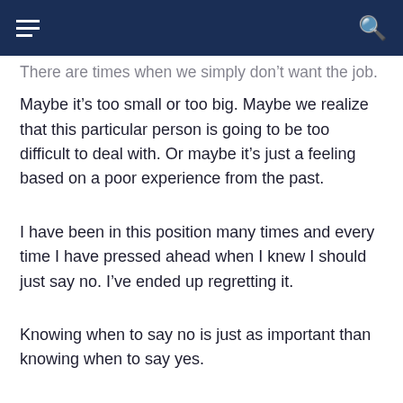There are times when we simply don't want the job. Maybe it's too small or too big. Maybe we realize that this particular person is going to be too difficult to deal with. Or maybe it's just a feeling based on a poor experience from the past.
I have been in this position many times and every time I have pressed ahead when I knew I should just say no. I've ended up regretting it.
Knowing when to say no is just as important than knowing when to say yes.